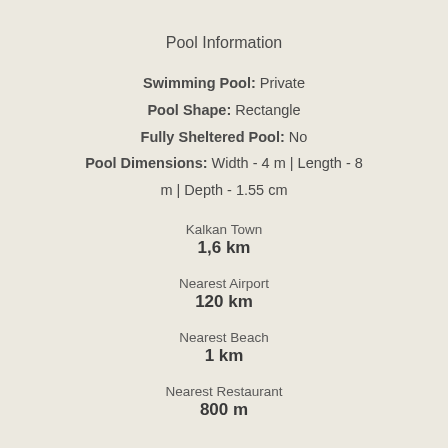Pool Information
Swimming Pool: Private
Pool Shape: Rectangle
Fully Sheltered Pool: No
Pool Dimensions: Width - 4 m | Length - 8 m | Depth - 1.55 cm
Kalkan Town
1,6 km
Nearest Airport
120 km
Nearest Beach
1 km
Nearest Restaurant
800 m